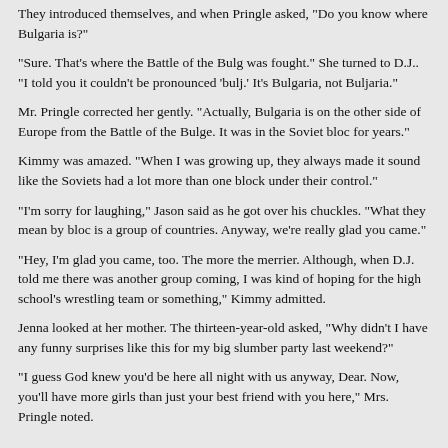They introduced themselves, and when Pringle asked, "Do you know where Bulgaria is?"
"Sure. That's where the Battle of the Bulg was fought." She turned to D.J.. "I told you it couldn't be pronounced 'bulj.' It's Bulgaria, not Buljaria."
Mr. Pringle corrected her gently. "Actually, Bulgaria is on the other side of Europe from the Battle of the Bulge. It was in the Soviet bloc for years."
Kimmy was amazed. "When I was growing up, they always made it sound like the Soviets had a lot more than one block under their control."
"I'm sorry for laughing," Jason said as he got over his chuckles. "What they mean by bloc is a group of countries. Anyway, we're really glad you came."
"Hey, I'm glad you came, too. The more the merrier. Although, when D.J. told me there was another group coming, I was kind of hoping for the high school's wrestling team or something," Kimmy admitted.
Jenna looked at her mother. The thirteen-year-old asked, "Why didn't I have any funny surprises like this for my big slumber party last weekend?"
"I guess God knew you'd be here all night with us anyway, Dear. Now, you'll have more girls than just your best friend with you here," Mrs. Pringle noted.